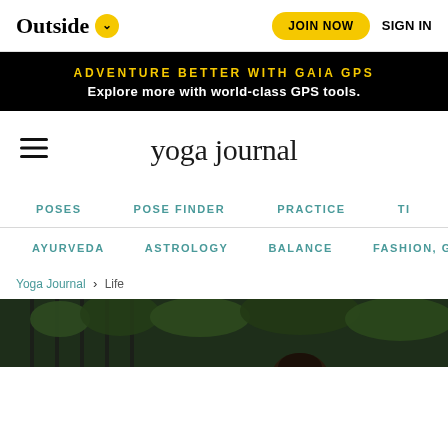Outside
JOIN NOW   SIGN IN
ADVENTURE BETTER WITH GAIA GPS
Explore more with world-class GPS tools.
yoga journal
POSES   POSE FINDER   PRACTICE   TI
AYURVEDA   ASTROLOGY   BALANCE   FASHION, GEAR, & BEA
Yoga Journal > Life
[Figure (photo): A person photographed from behind near a metal fence with dark green foliage in the background]